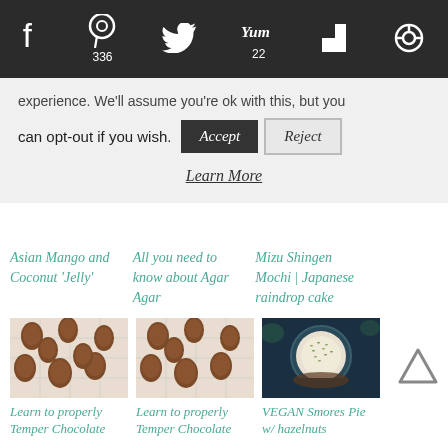Social bar: Facebook, Pinterest 336, Twitter, Yum 22, Flipboard, other
experience. We'll assume you're ok with this, but you can opt-out if you wish. [Accept] [Reject]
Learn More
Asian Mango and Coconut 'Jelly'
All you need to know about Agar Agar
Mizu Shingen Mochi | Japanese raindrop cake
[Figure (photo): Chocolate covered nuts/eggs on a wire cooling rack]
[Figure (photo): Chocolate covered nuts/eggs on a wire cooling rack (duplicate)]
[Figure (photo): VEGAN Smores Pie with hazelnuts - dark moody overhead shot]
Learn to properly Temper Chocolate
Learn to properly Temper Chocolate
VEGAN Smores Pie w/ hazelnuts